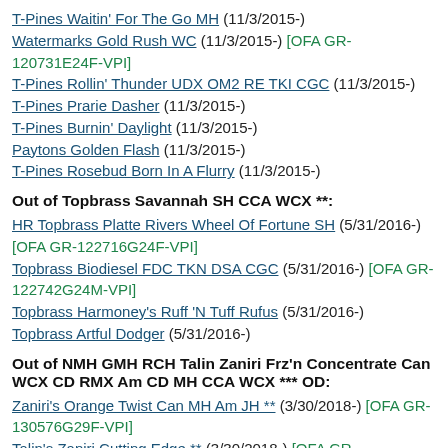T-Pines Waitin' For The Go MH (11/3/2015-)
Watermarks Gold Rush WC (11/3/2015-) [OFA GR-120731E24F-VPI]
T-Pines Rollin' Thunder UDX OM2 RE TKI CGC (11/3/2015-)
T-Pines Prarie Dasher (11/3/2015-)
T-Pines Burnin' Daylight (11/3/2015-)
Paytons Golden Flash (11/3/2015-)
T-Pines Rosebud Born In A Flurry (11/3/2015-)
Out of Topbrass Savannah SH CCA WCX **:
HR Topbrass Platte Rivers Wheel Of Fortune SH (5/31/2016-) [OFA GR-122716G24F-VPI]
Topbrass Biodiesel FDC TKN DSA CGC (5/31/2016-) [OFA GR-122742G24M-VPI]
Topbrass Harmoney's Ruff 'N Tuff Rufus (5/31/2016-)
Topbrass Artful Dodger (5/31/2016-)
Out of NMH GMH RCH Talin Zaniri Frz'n Concentrate Can WCX CD RMX Am CD MH CCA WCX *** OD:
Zaniri's Orange Twist Can MH Am JH ** (3/30/2018-) [OFA GR-130576G29F-VPI]
Talin's Zaniri Cutting Edge ** (3/30/2018-) [OFA GR-129851E27M-VPI]